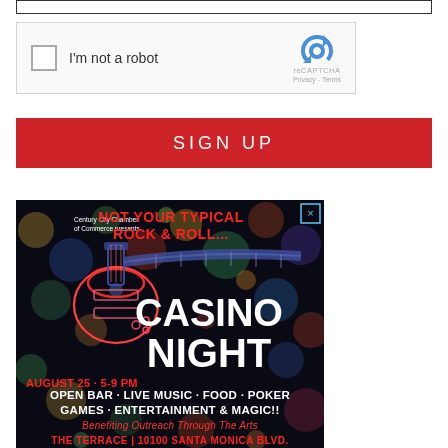[Figure (screenshot): Top portion of a form input bar (text field border visible at top of page)]
[Figure (screenshot): reCAPTCHA widget with checkbox labeled 'I'm not a robot', reCAPTCHA logo, Privacy and Terms links]
[Figure (screenshot): Red SIGN UP button]
[Figure (illustration): Advertisement for Casino Night event by Century City Chamber of Commerce. Text reads: 'NOT YOUR TYPICAL ROCK & ROLL... CASINO NIGHT. AUGUST 25 · 5-9 PM. OPEN BAR · LIVE MUSIC · FOOD · POKER GAMES · ENTERTAINMENT & MAGIC!! Benefiting Outreach Through The Arts. THE TERRACE | 10100 SANTA MONICA BLVD.' Features neon guitar illustration on dark bokeh background.]